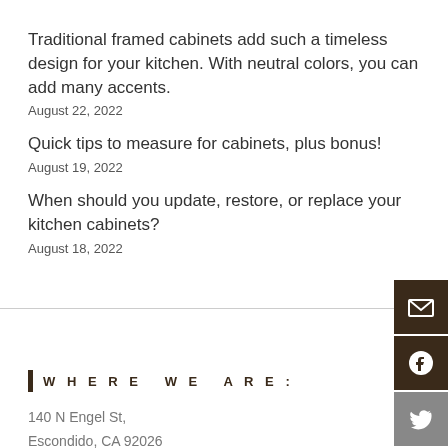Traditional framed cabinets add such a timeless design for your kitchen. With neutral colors, you can add many accents.
August 22, 2022
Quick tips to measure for cabinets, plus bonus!
August 19, 2022
When should you update, restore, or replace your kitchen cabinets?
August 18, 2022
WHERE WE ARE:
140 N Engel St,
Escondido, CA 92026